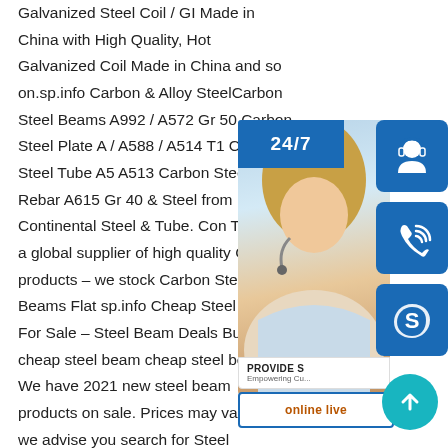Galvanized Steel Coil / GI Made in China with High Quality, Hot Galvanized Coil Made in China and so on.sp.info Carbon & Alloy SteelCarbon Steel Beams A992 / A572 Gr 50 Carbon Steel Plate A / A588 / A514 T1 Carbon Steel Tube A5 A513 Carbon Steel Rebar A615 Gr 40 & Steel from Continental Steel & Tube. Con Tube is a global supplier of high quality C products – we stock Carbon Steel Beams Flat sp.info Cheap Steel Beam For Sale – Steel Beam Deals Buy cheap steel beam cheap steel beam? We have 2021 new steel beam products on sale. Prices may vary so we advise you search for Steel Structure Price, Steel Pipe Price, Steel Wire Price for comparison shopping before you place an order, then you can get high quality & low price Steel
[Figure (infographic): Customer service widget overlay showing a woman with headset, 24/7 label, headset icon button, phone icon button, Skype icon button, PROVIDE Empowering Customers banner, online live button, and a teal scroll-to-top arrow button.]